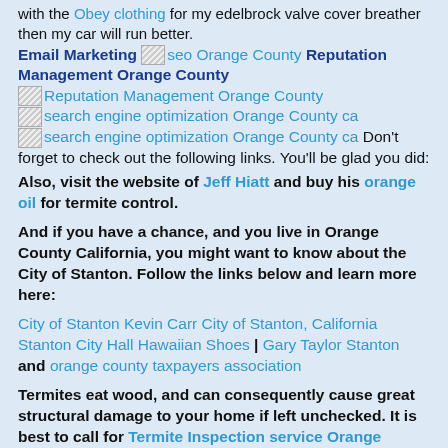with the Obey clothing for my edelbrock valve cover breather then my car will run better.
Email Marketing [seo Orange County image] Reputation Management Orange County [Reputation Management Orange County image] [search engine optimization Orange County ca image] [search engine optimization Orange County ca image] Don't forget to check out the following links. You'll be glad you did:
Also, visit the website of Jeff Hiatt and buy his orange oil for termite control.
And if you have a chance, and you live in Orange County California, you might want to know about the City of Stanton. Follow the links below and learn more here:
City of Stanton Kevin Carr City of Stanton, California Stanton City Hall Hawaiian Shoes | Gary Taylor Stanton and orange county taxpayers association
Termites eat wood, and can consequently cause great structural damage to your home if left unchecked. It is best to call for Termite Inspection service Orange County. A typical homeowner's insurance policy does